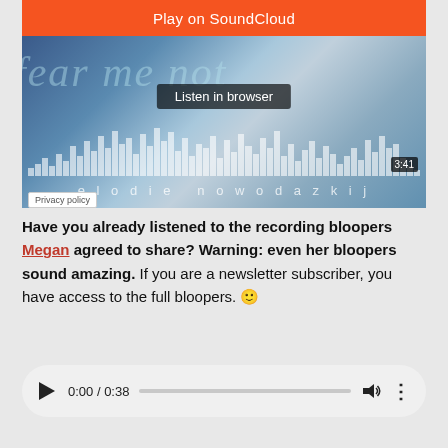[Figure (screenshot): SoundCloud embedded player for 'fear me not' by elodie nowodazkij. Orange bar at top reads 'Play on SoundCloud', below is a 'Listen in browser' button overlaid on album artwork showing text 'fear me not' and 'elodie nowodazkij' with an audio waveform and duration 3:41. Privacy policy label at bottom left.]
Have you already listened to the recording bloopers Megan agreed to share? Warning: even her bloopers sound amazing. If you are a newsletter subscriber, you have access to the full bloopers. 🙂
[Figure (screenshot): HTML5 audio player showing 0:00 / 0:38 with play button, progress bar, volume icon, and more options icon on a light gray rounded rectangle background.]